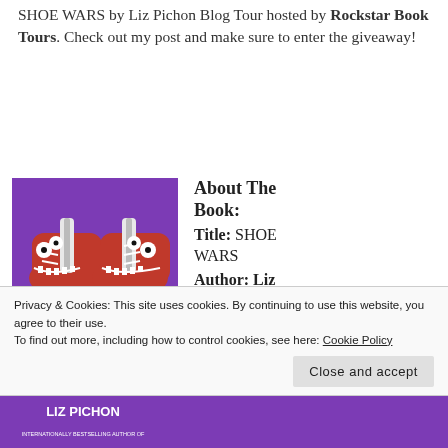SHOE WARS by Liz Pichon Blog Tour hosted by Rockstar Book Tours. Check out my post and make sure to enter the giveaway!
[Figure (illustration): Book cover of SHOE WARS by Liz Pichon, showing two red monster sneakers with eyes and teeth on a purple background. Text reads 'TWO DARING KIDS, SECRET PLANS, AND THE ULTIMATE PRIZE']
About The Book:
Title: SHOE WARS
Author: Liz
Privacy & Cookies: This site uses cookies. By continuing to use this website, you agree to their use.
To find out more, including how to control cookies, see here: Cookie Policy
Close and accept